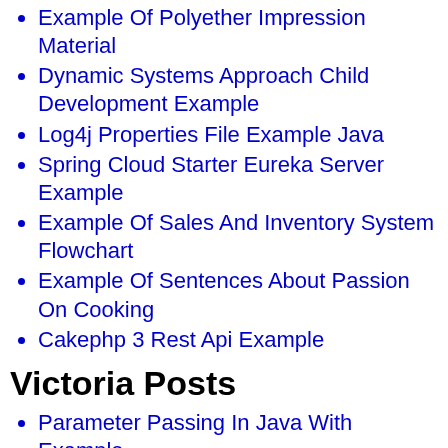Example Of Polyether Impression Material
Dynamic Systems Approach Child Development Example
Log4j Properties File Example Java
Spring Cloud Starter Eureka Server Example
Example Of Sales And Inventory System Flowchart
Example Of Sentences About Passion On Cooking
Cakephp 3 Rest Api Example
Victoria Posts
Parameter Passing In Java With Example
Apa Format Cover Page Example
How To Upload Video On Youtube In Android Example
Personal Statement For University Example